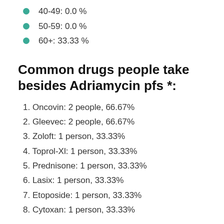40-49: 0.0 %
50-59: 0.0 %
60+: 33.33 %
Common drugs people take besides Adriamycin pfs *:
1. Oncovin: 2 people, 66.67%
2. Gleevec: 2 people, 66.67%
3. Zoloft: 1 person, 33.33%
4. Toprol-Xl: 1 person, 33.33%
5. Prednisone: 1 person, 33.33%
6. Lasix: 1 person, 33.33%
7. Etoposide: 1 person, 33.33%
8. Cytoxan: 1 person, 33.33%
Common side effects people have besides Gastrointestinal